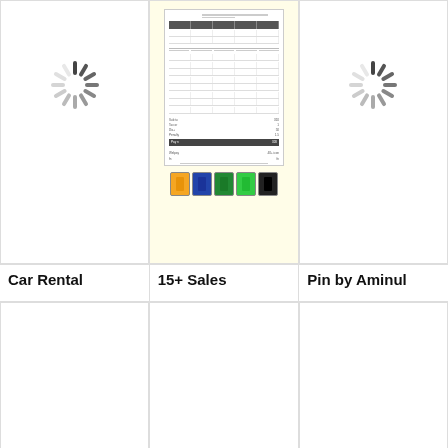[Figure (screenshot): Loading spinner (gray radial lines) in left top cell]
[Figure (screenshot): Document preview showing a sales invoice/form with tables, summary rows, total bar, and color swatches at bottom - highlighted cell]
[Figure (screenshot): Loading spinner (gray radial lines) in right top cell]
Car Rental
15+ Sales
Pin by Aminul
[Figure (screenshot): Empty bottom-left cell with a small vertical cursor bar]
[Figure (screenshot): Empty bottom-center cell]
[Figure (screenshot): Empty bottom-right cell]